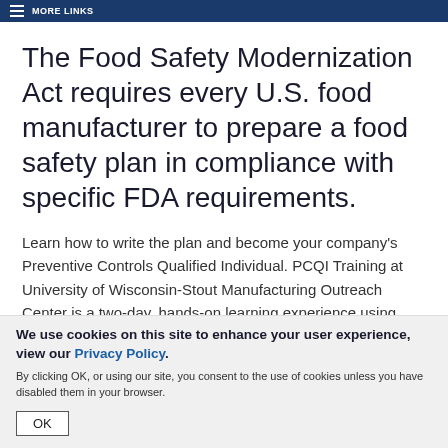MORE LINKS
The Food Safety Modernization Act requires every U.S. food manufacturer to prepare a food safety plan in compliance with specific FDA requirements.
Learn how to write the plan and become your company's Preventive Controls Qualified Individual. PCQI Training at University of Wisconsin-Stout Manufacturing Outreach Center is a two-day, hands-on learning experience using FDA-recognized standardized curriculum.
We use cookies on this site to enhance your user experience, view our Privacy Policy.
By clicking OK, or using our site, you consent to the use of cookies unless you have disabled them in your browser.